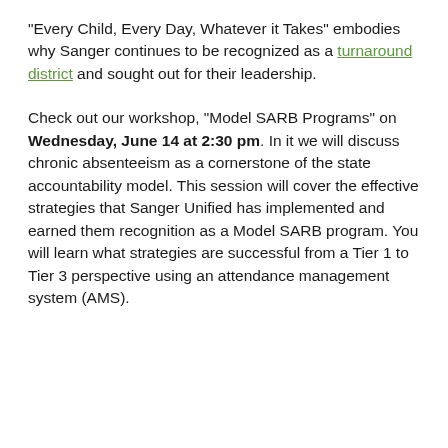“Every Child, Every Day, Whatever it Takes” embodies why Sanger continues to be recognized as a turnaround district and sought out for their leadership.
Check out our workshop, “Model SARB Programs” on Wednesday, June 14 at 2:30 pm. In it we will discuss chronic absenteeism as a cornerstone of the state accountability model. This session will cover the effective strategies that Sanger Unified has implemented and earned them recognition as a Model SARB program. You will learn what strategies are successful from a Tier 1 to Tier 3 perspective using an attendance management system (AMS).